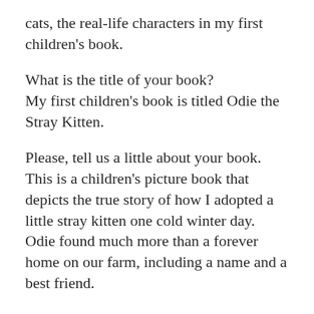cats, the real-life characters in my first children's book.
What is the title of your book? My first children's book is titled Odie the Stray Kitten.
Please, tell us a little about your book. This is a children's picture book that depicts the true story of how I adopted a little stray kitten one cold winter day. Odie found much more than a forever home on our farm, including a name and a best friend.
What genre do you write? I write children's realistic fiction.
What inspired you to write this book? Odie, the kitten himself, inspired me to write